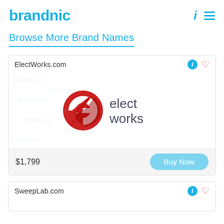brandnic
Browse More Brand Names
[Figure (logo): ElectWorks.com brand card with red stylized 'e' logo and text 'elect works', priced at $1,799 with Buy Now button]
[Figure (logo): SweepLab.com brand card, partially visible]